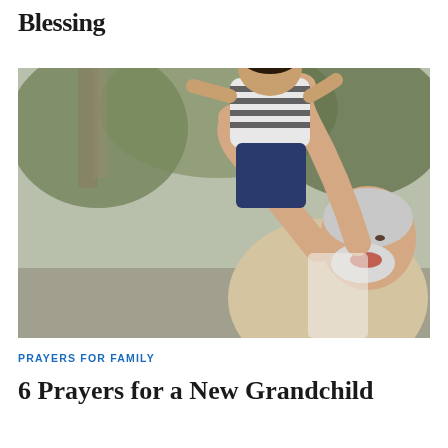Blessing
[Figure (photo): An elderly white-bearded man laughing joyfully while lifting a baby wearing a striped shirt and jeans above his head outdoors, with blurred greenery in the background.]
PRAYERS FOR FAMILY
6 Prayers for a New Grandchild